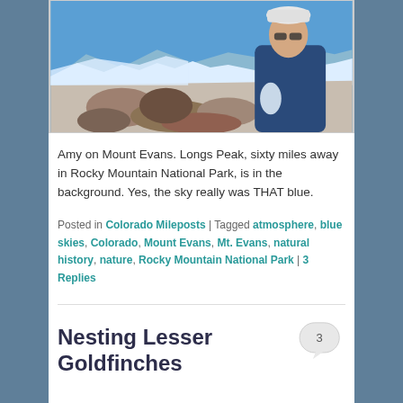[Figure (photo): Woman (Amy) standing on Mount Evans with snowy rocky terrain and blue sky in background; Longs Peak visible in distance]
Amy on Mount Evans. Longs Peak, sixty miles away in Rocky Mountain National Park, is in the background. Yes, the sky really was THAT blue.
Posted in Colorado Mileposts | Tagged atmosphere, blue skies, Colorado, Mount Evans, Mt. Evans, natural history, nature, Rocky Mountain National Park | 3 Replies
Nesting Lesser Goldfinches